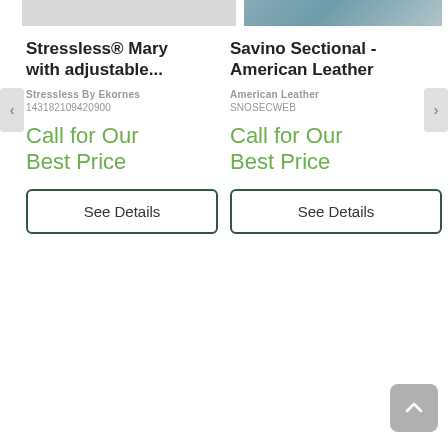[Figure (photo): Partial product image top left (cropped, light gray)]
[Figure (photo): Product image top right - Savino Sectional sofa in teal/blue (cropped)]
Stressless® Mary with adjustable...
Stressless By Ekornes
143182109420900
Call for Our Best Price
See Details
Savino Sectional - American Leather
American Leather
SNOSECWEB
Call for Our Best Price
See Details